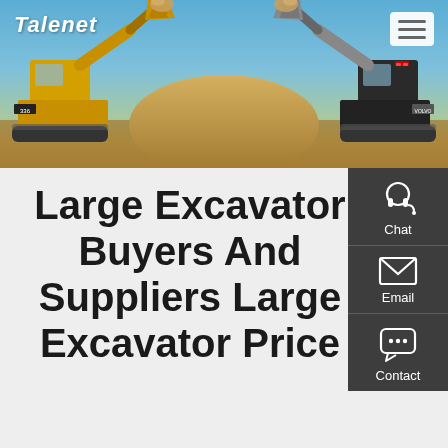[Figure (photo): Hero banner showing two large yellow wheel loader excavators facing each other with raised buckets over a dirt mound, blue sky background]
Talenet
Large Excavator Buyers And Suppliers Large Excavator Price
[Figure (infographic): Right sidebar with Chat, Email, and Contact icons on dark grey background]